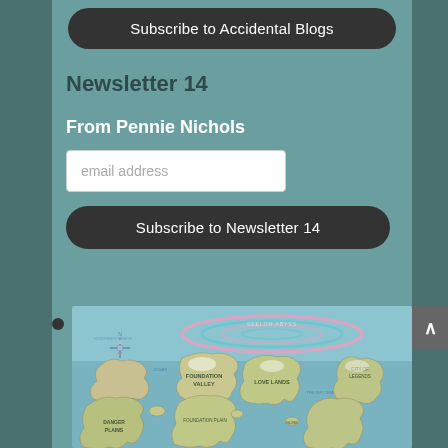Subscribe to Accidental Blogs
Newsletter 14
From Pennie Nichols
email address
Subscribe to Newsletter 14
[Figure (map): Fantasy world map showing landmasses, regions labeled with fantasy place names such as FOUNDATION VALLEY, LOVE LANDS, DANGER PLAINS, NORTHERN REACH, and others. A large spiral/ring formation visible in the upper center portion of the map over ocean/sea. Compass rose visible in the upper left. The map has an aged, illustrated style with beige/green landmasses and blue ocean.]